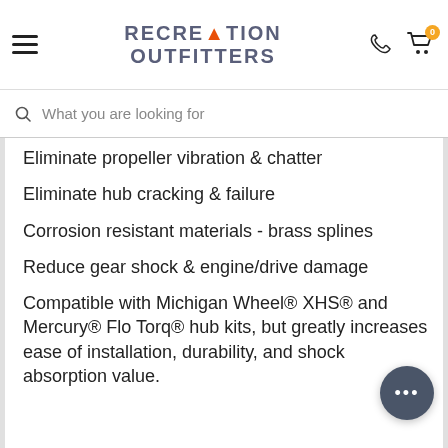RECREATION OUTFITTERS
What you are looking for
Eliminate propeller vibration & chatter
Eliminate hub cracking & failure
Corrosion resistant materials - brass splines
Reduce gear shock & engine/drive damage
Compatible with Michigan Wheel® XHS® and Mercury® Flo Torq® hub kits, but greatly increases ease of installation, durability, and shock absorption value.
Also compatible with Michigan Wheel® and...